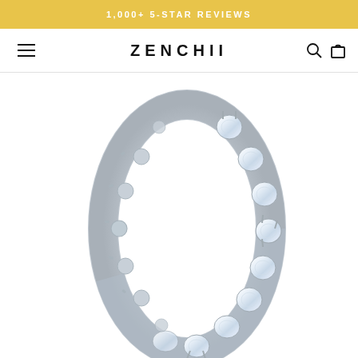1,000+ 5-STAR REVIEWS
[Figure (logo): ZENCHII brand logo with hamburger menu icon on the left and search/cart icons on the right]
[Figure (photo): Silver eternity ring with round cubic zirconia stones set all around the band, photographed on white background with reflection visible at bottom]